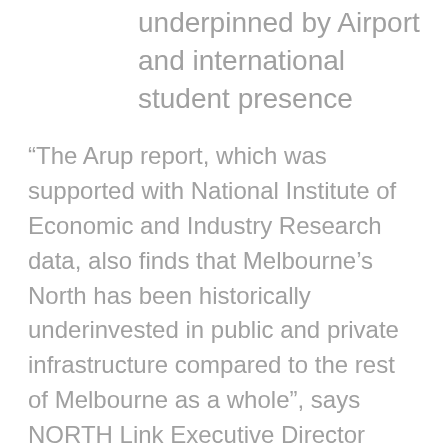underpinned by Airport and international student presence
“The Arup report, which was supported with National Institute of Economic and Industry Research data, also finds that Melbourne’s North has been historically underinvested in public and private infrastructure compared to the rest of Melbourne as a whole”, says NORTH Link Executive Director Chris James.
“Faster-than-expected population and industry growth requires infrastructure planning and build to be brought forward. In response, the report recommends a commitment by State and Federal Governments to the following infrastructure projects, some of which are planned already: